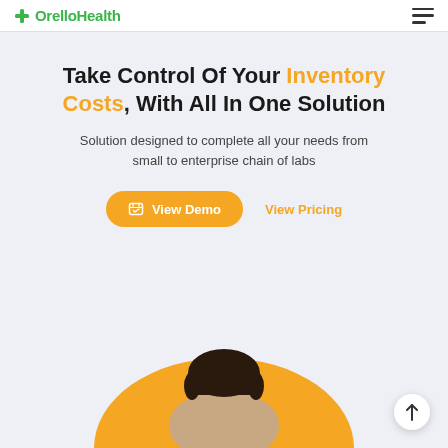OrelloHealth
Take Control Of Your Inventory Costs, With All In One Solution
Solution designed to complete all your needs from small to enterprise chain of labs
View Demo  View Pricing
[Figure (illustration): Person (head and shoulders) emerging from an orange semi-circle at the bottom of the hero section, with a scroll-to-top button in the lower right corner.]